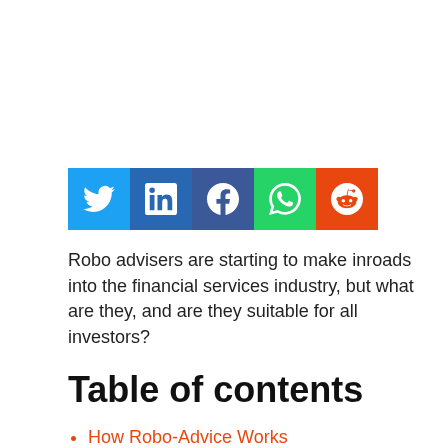[Figure (other): Row of five social media share buttons: Twitter (blue), LinkedIn (dark blue), Facebook (dark blue/purple), WhatsApp (green), Reddit (orange-red)]
Robo advisers are starting to make inroads into the financial services industry, but what are they, and are they suitable for all investors?
Table of contents
How Robo-Advice Works
Robo-Advice Pros And Cons